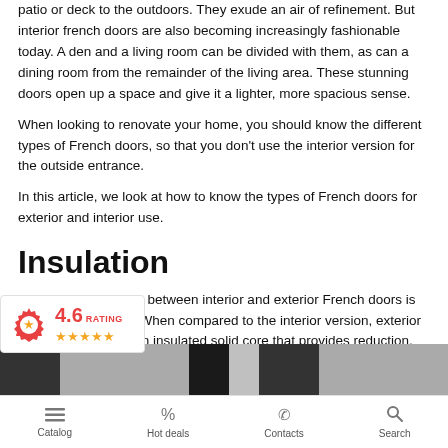patio or deck to the outdoors. They exude an air of refinement. But interior french doors are also becoming increasingly fashionable today. A den and a living room can be divided with them, as can a dining room from the remainder of the living area. These stunning doors open up a space and give it a lighter, more spacious sense.
When looking to renovate your home, you should know the different types of French doors, so that you don't use the interior version for the outside entrance.
In this article, we look at how to know the types of French doors for exterior and interior use.
Insulation
One major difference between interior and exterior French doors is the size of the core. When compared to the interior version, exterior French doors have an insulated solid core that provides reduction, energy efficiency, and security.
[Figure (other): Rating badge showing 4.6 rating with stars]
[Figure (photo): Partial photo strip of French doors]
Catalog  Hot deals  Contacts  Search